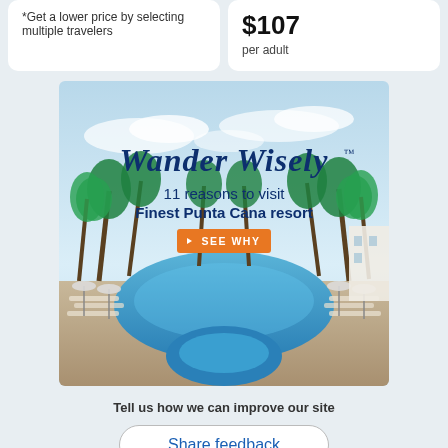*Get a lower price by selecting multiple travelers
$107 per adult
[Figure (illustration): Travel advertisement banner titled 'Wander Wisely' with '11 reasons to visit Finest Punta Cana resort' and a 'SEE WHY' button, showing a luxury resort pool with palm trees and beach chairs.]
Tell us how we can improve our site
Share feedback